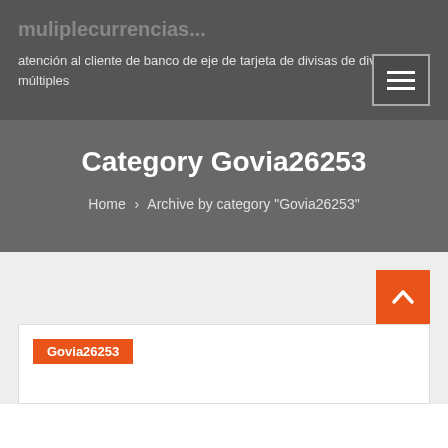atención al cliente de banco de eje de tarjeta de divisas de divisas múltiples
Category Govia26253
Home › Archive by category "Govia26253"
Govia26253